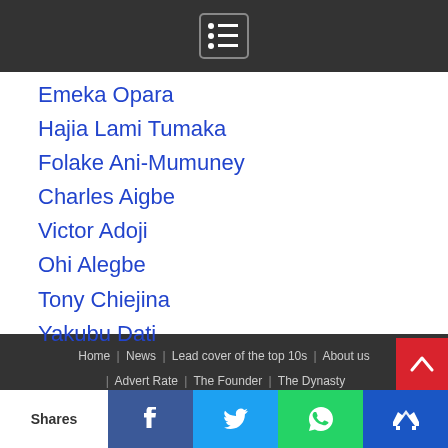Emeka Opara
Hajia Lami Tumaka
Folake Ani-Mumuney
Charles Aigbe
Victor Adoji
Ohi Alegbe
Tony Chiejina
Yakubu Dati
Home | News | Lead cover of the top 10s | About us | Advert Rate | The Founder | The Dynasty | The Professional | Corporate Succession
Shares